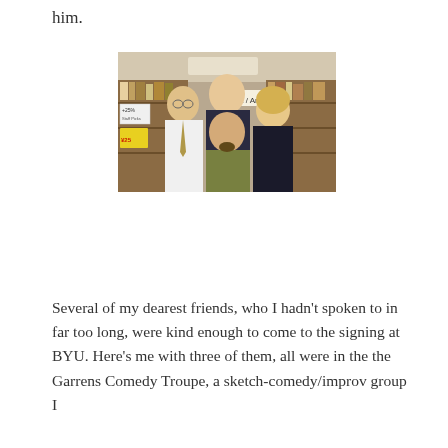him.
[Figure (photo): Four people posing together in what appears to be a bookstore. A tall man in a black and yellow jacket stands in the back center. A man in a white shirt and striped tie stands on the left. A woman with blonde hair in a dark top stands on the right. A man with a goatee in an olive shirt stands in the front center. A 'Gift / Art Books' sign is visible in the background along with bookshelves.]
Several of my dearest friends, who I hadn't spoken to in far too long, were kind enough to come to the signing at BYU. Here's me with three of them, all were in the the Garrens Comedy Troupe, a sketch-comedy/improv group I